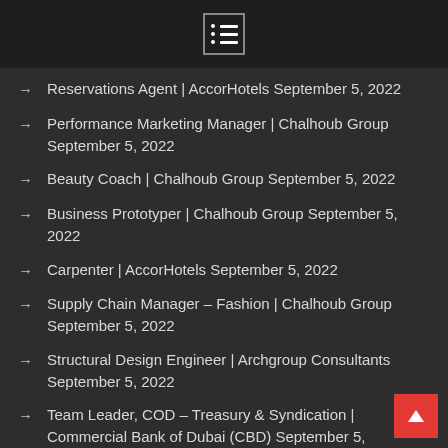menu icon
Reservations Agent | AccorHotels September 5, 2022
Performance Marketing Manager | Chalhoub Group September 5, 2022
Beauty Coach | Chalhoub Group September 5, 2022
Business Prototyper | Chalhoub Group September 5, 2022
Carpenter | AccorHotels September 5, 2022
Supply Chain Manager – Fashion | Chalhoub Group September 5, 2022
Structural Design Engineer | Archgroup Consultants September 5, 2022
Team Leader, COD – Treasury &amp; Syndication | Commercial Bank of Dubai (CBD) September 5,